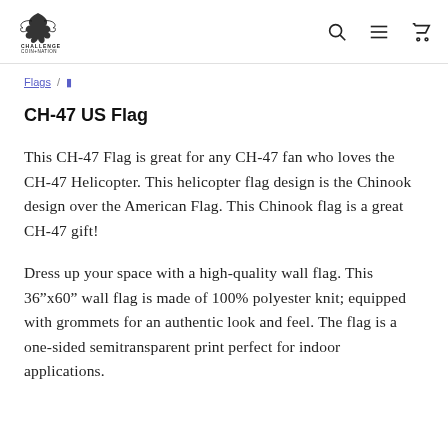Challenge Coin Nation — navigation header with search, menu, and cart icons
breadcrumb navigation
CH-47 US Flag
This CH-47 Flag is great for any CH-47 fan who loves the CH-47 Helicopter. This helicopter flag design is the Chinook design over the American Flag. This Chinook flag is a great CH-47 gift!
Dress up your space with a high-quality wall flag. This 36”x60” wall flag is made of 100% polyester knit; equipped with grommets for an authentic look and feel. The flag is a one-sided semitransparent print perfect for indoor applications.